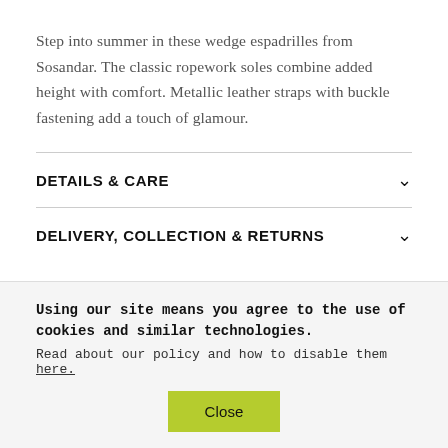Step into summer in these wedge espadrilles from Sosandar. The classic ropework soles combine added height with comfort. Metallic leather straps with buckle fastening add a touch of glamour.
DETAILS & CARE
DELIVERY, COLLECTION & RETURNS
Using our site means you agree to the use of cookies and similar technologies. Read about our policy and how to disable them here.
Close